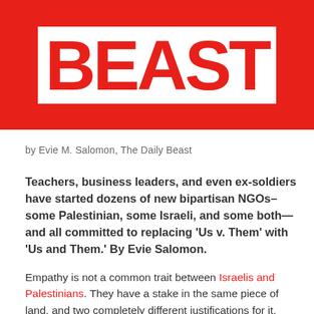[Figure (logo): The Daily Beast logo — white box on red background showing 'BEAST' in large bold red letters]
by Evie M. Salomon, The Daily Beast
Teachers, business leaders, and even ex-soldiers have started dozens of new bipartisan NGOs–some Palestinian, some Israeli, and some both—and all committed to replacing 'Us v. Them' with 'Us and Them.' By Evie Salomon.
Empathy is not a common trait between Israelis and Palestinians. They have a stake in the same piece of land, and two completely different justifications for it. Even their history books tell different stories. According to a five-year study of Israeli and Palestinian textbooks conducted by